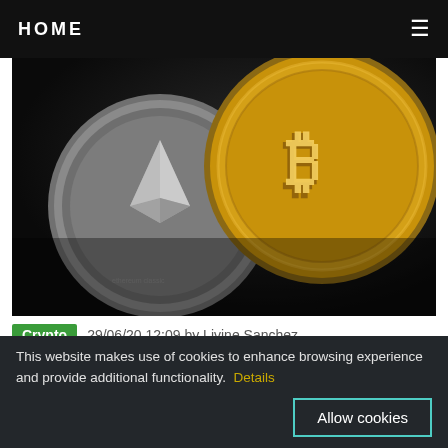HOME
[Figure (photo): Cryptocurrency coins including Bitcoin (gold) and Ethereum (silver) on a dark background]
Crypto  29/06/20 12:09 by Livine Sanchez
Mutual Insurance: What It Is and Why It Matters to Crypto Derivatives Traders
Profitable traders aren't just good at gauging which way the market will move: they're also excellent risk managers, reducing their exposure to loss in the event of things going
This website makes use of cookies to enhance browsing experience and provide additional functionality. Details  Allow cookies